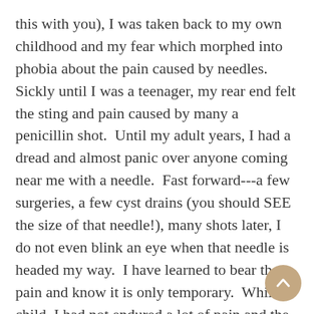this with you), I was taken back to my own childhood and my fear which morphed into phobia about the pain caused by needles.  Sickly until I was a teenager, my rear end felt the sting and pain caused by many a penicillin shot.  Until my adult years, I had a dread and almost panic over anyone coming near me with a needle.  Fast forward---a few surgeries, a few cyst drains (you should SEE the size of that needle!), many shots later, I do not even blink an eye when that needle is headed my way.  I have learned to bear the pain and know it is only temporary.  While a child, I had not endured a lot of pain and the pain those needles  terrified me.  As an adult, I have endured a great deal of pain--physically and emotionally.  I now know from experience, I will survive that discomfort.  I went to the dentist yesterday for a butterfly (what I prefer calling a root canal--you have to agree the term root canal itself is enough to send you running for the door).  They now put something on your